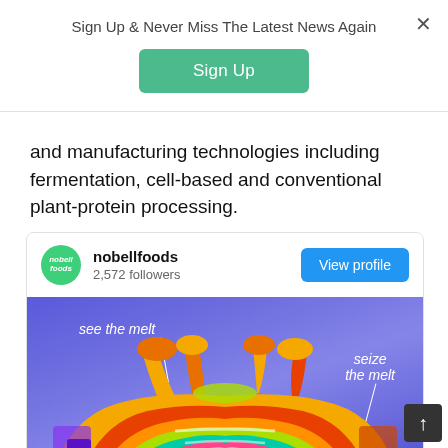Sign Up & Never Miss The Latest News Again
Sign Up
and manufacturing technologies including fermentation, cell-based and conventional plant-protein processing.
[Figure (screenshot): nobellfoods social media card showing profile with 2,572 followers, View profile button, and a colorful thermal/pop-art style image of melting cheese with annotations 'see the melt' and 'seize the melt']